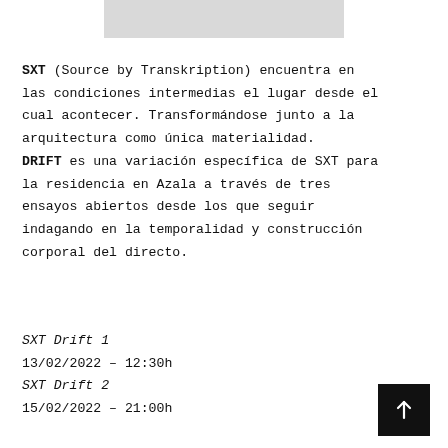[Figure (other): Gray rectangular placeholder image at the top center of the page]
SXT (Source by Transkription) encuentra en las condiciones intermedias el lugar desde el cual acontecer. Transformándose junto a la arquitectura como única materialidad. DRIFT es una variación específica de SXT para la residencia en Azala a través de tres ensayos abiertos desde los que seguir indagando en la temporalidad y construcción corporal del directo.
SXT Drift 1
13/02/2022 – 12:30h
SXT Drift 2
15/02/2022 – 21:00h